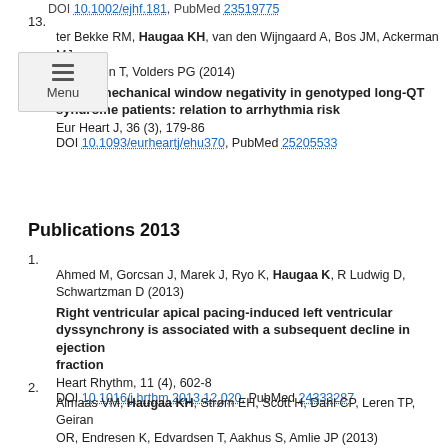DOI 10.1002/ejhf.181, PubMed 23519775
13. ter Bekke RM, Haugaa KH, van den Wijngaard A, Bos JM, Ackerman MJ, Edvardsen T, Volders PG (2014)
Electromechanical window negativity in genotyped long-QT syndrome patients: relation to arrhythmia risk
Eur Heart J, 36 (3), 179-86
DOI 10.1093/eurheartj/ehu370, PubMed 25205533
Publications 2013
1. Ahmed M, Gorcsan J, Marek J, Ryo K, Haugaa K, R Ludwig D, Schwartzman D (2013)
Right ventricular apical pacing-induced left ventricular dyssynchrony is associated with a subsequent decline in ejection fraction
Heart Rhythm, 11 (4), 602-8
DOI 10.1016/j.hrthm.2013.12.020, PubMed 24333287
2. Almaas VM, Haugaa KH, Strøm EH, Scott H, Dahl CP, Leren TP, Geiran OR, Endresen K, Edvardsen T, Aakhus S, Amlie JP (2013)
Increased amount of interstitial fibrosis predicts ventricular arrhythmias, and is associated with reduced myocardial septal function in patients with obstructive hypertrophic cardiomyopathy